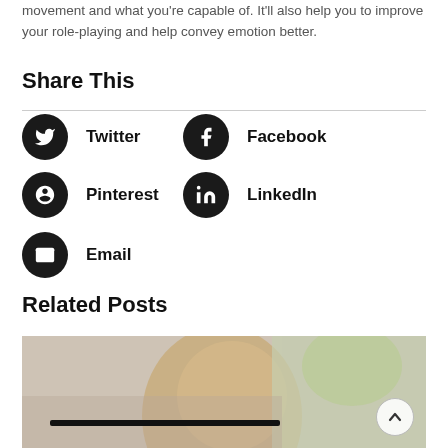movement and what you're capable of. It'll also help you to improve your role-playing and help convey emotion better.
Share This
Twitter
Facebook
Pinterest
LinkedIn
Email
Related Posts
[Figure (photo): Photo of a person with blonde hair, partially visible, with green foliage in the background. A black horizontal bar overlays the lower portion.]